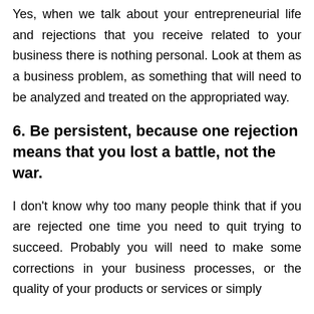Yes, when we talk about your entrepreneurial life and rejections that you receive related to your business there is nothing personal. Look at them as a business problem, as something that will need to be analyzed and treated on the appropriated way.
6. Be persistent, because one rejection means that you lost a battle, not the war.
I don't know why too many people think that if you are rejected one time you need to quit trying to succeed. Probably you will need to make some corrections in your business processes, or the quality of your products or services or simply